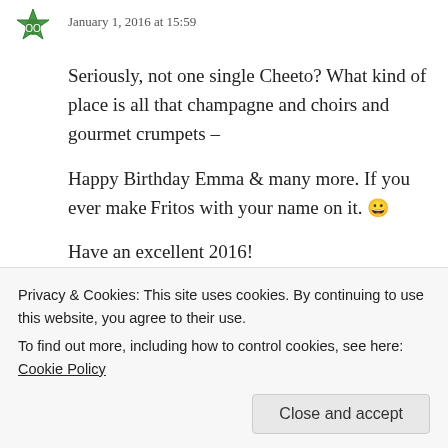January 1, 2016 at 15:59
Seriously, not one single Cheeto? What kind of place is all that champagne and choirs and gourmet crumpets –
Happy Birthday Emma & many more. If you ever make Fritos with your name on it. 😀
Have an excellent 2016!
Reply
emmakwall says:
January 4, 2016 at 14:22
Privacy & Cookies: This site uses cookies. By continuing to use this website, you agree to their use.
To find out more, including how to control cookies, see here: Cookie Policy
Close and accept